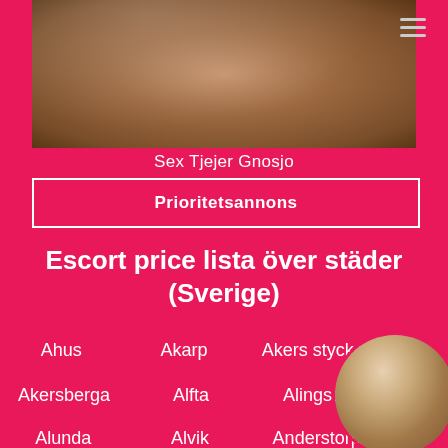[Figure (photo): Cropped close-up photo of a person's lower back/buttocks area on white fabric background]
Sex Tjejer Gnosjo
Prioritetsannons
Escort price lista över städer (Sverige)
Ahus
Akarp
Akers stycke
Akersberga
Alfta
Alingsas
Alunda
Alvik
Anderstorp
[Figure (photo): Circular portrait photo of a blonde woman smiling, wearing black clothing]